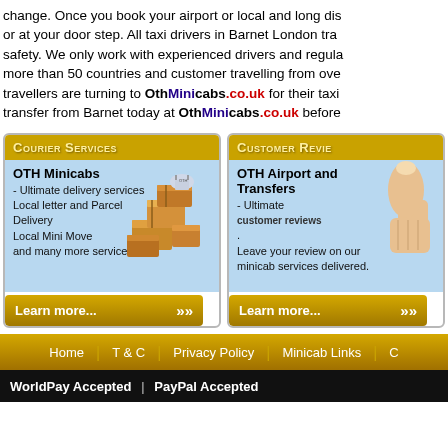change. Once you book your airport or local and long distance transfer, the price will not change. or at your door step. All taxi drivers in Barnet London trained to the highest standards of safety. We only work with experienced drivers and regularly check their vehicles. Drivers from more than 50 countries and customer travelling from over 50 countries. More and more travellers are turning to OthMinicabs.co.uk for their taxi needs. Book your airport transfer from Barnet today at OthMinicabs.co.uk before...
[Figure (infographic): Courier Services card with image of stacked parcels/boxes]
[Figure (infographic): Customer Reviews card with thumbs up image]
Home | T & C | Privacy Policy | Minicab Links | C...
WorldPay Accepted | PayPal Accepted